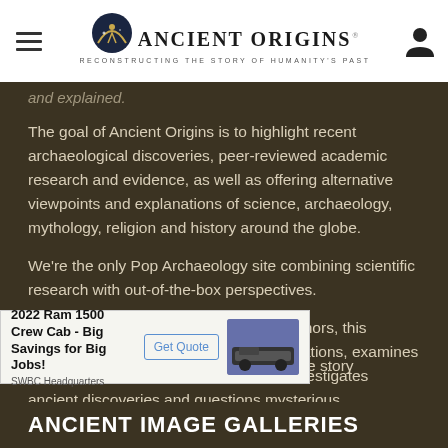Ancient Origins — Reconstructing the story of humanity's past
and explained.
The goal of Ancient Origins is to highlight recent archaeological discoveries, peer-reviewed academic research and evidence, as well as offering alternative viewpoints and explanations of science, archaeology, mythology, religion and history around the globe.
We're the only Pop Archaeology site combining scientific research with out-of-the-box perspectives.
By bringing together top experts and authors, this archaeology website explores lost civilizations, examines sacred writings, tours ancient places, investigates ancient discoveries and questions mysterious happenings. Our open community is dedicated to digging into the origins of our species on planet earth, and question ... to retell the story
[Figure (screenshot): Advertisement banner: 2022 Ram 1500 Crew Cab - Big Savings for Big Jobs! SWBC Headquarters, with Get Quote button and truck image]
ANCIENT IMAGE GALLERIES